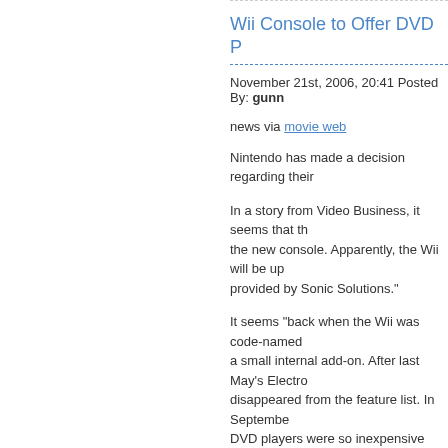Wii Console to Offer DVD P...
November 21st, 2006, 20:41 Posted By: gunn...
news via movie web
Nintendo has made a decision regarding their ...
In a story from Video Business, it seems that th... the new console. Apparently, the Wii will be up... provided by Sonic Solutions."
It seems "back when the Wii was code-named... a small internal add-on. After last May's Electro... disappeared from the feature list. In Septembe... DVD players were so inexpensive and pervasi... options to the Wii that would drive up the cost t...
There is currently no explanation about why Ni... officially "announced the feature, which was m...
To read more of the post and Download, cli...
Join In and Discuss Here
Submit News and Releases Here and Contact...
AMD Congratulates Ninto...